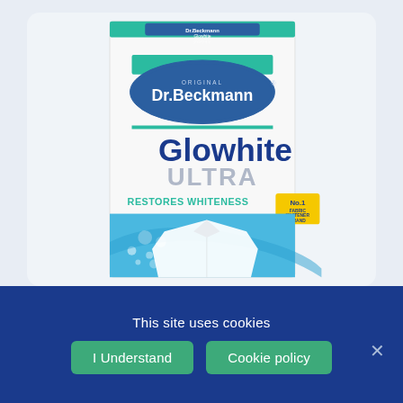[Figure (photo): Dr. Beckmann Glowhite Ultra product box. White box with blue and teal branding. Dr. Beckmann logo in a blue oval badge at top center with 'ORIGINAL' above it. Large text reads 'Glowhite' in dark blue and 'ULTRA' in grey below. 'RESTORES WHITENESS' in teal, and a yellow badge saying 'No.1 FABRIC WHITENER BRAND'. Lower portion shows a white dress shirt against a blue background with bubbles.]
This site uses cookies
I Understand
Cookie policy